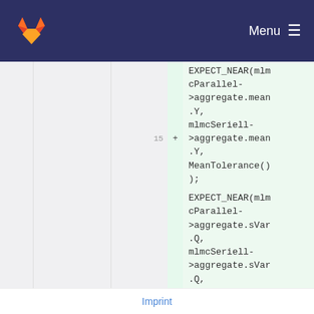Menu
EXPECT_NEAR(mlmcParallel->aggregate.mean.Y,
mlmcSeriell->aggregate.mean.Y,
MeanTolerance()
);
15  +  EXPECT_NEAR(mlmcParallel->aggregate.sVar.Q,
mlmcSeriell->aggregate.sVar.Q,
SVarTolerance()
);
Imprint